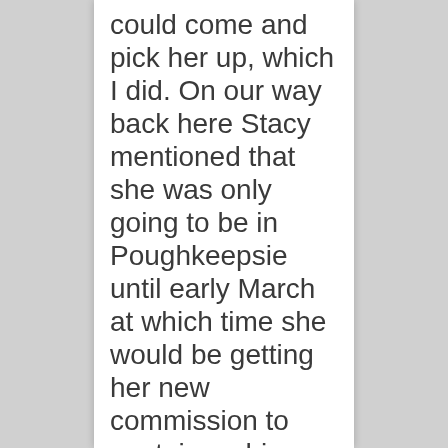could come and pick her up, which I did. On our way back here Stacy mentioned that she was only going to be in Poughkeepsie until early March at which time she would be getting her new commission to captain a ship. This meant that the modeling wouldn't work out because